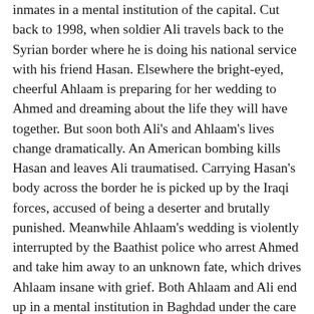inmates in a mental institution of the capital. Cut back to 1998, when soldier Ali travels back to the Syrian border where he is doing his national service with his friend Hasan. Elsewhere the bright-eyed, cheerful Ahlaam is preparing for her wedding to Ahmed and dreaming about the life they will have together. But soon both Ali's and Ahlaam's lives change dramatically. An American bombing kills Hasan and leaves Ali traumatised. Carrying Hasan's body across the border he is picked up by the Iraqi forces, accused of being a deserter and brutally punished. Meanwhile Ahlaam's wedding is violently interrupted by the Baathist police who arrest Ahmed and take him away to an unknown fate, which drives Ahlaam insane with grief. Both Ahlaam and Ali end up in a mental institution in Baghdad under the care of the very humane Dr Mehdi. But when the Americans start bombing the city, the hospital is destroyed and the inmates escape. Ahlaam, still wearing her wedding dress, wanders amid the rubble of an eerily empty, ruined Baghdad, where the silence is broken only by the sound of random sniper shots. Ali, displaying some awareness of what is